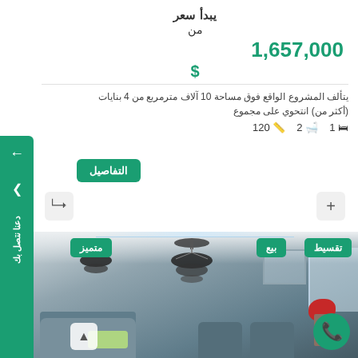يبدأ سعر
من
1,657,000
$
يتألف المشروع الواقع فوق مساحة 10 آلاف مترمربع من 4 بنايات (أكثر من) انتحوي على مجموع
1🛏  2🛁  120🟩
التفاصيل
[Figure (photo): Interior photo of a luxury apartment living room with chandeliers, sofa, chairs, and plant. Badges showing تقسيط, بيع, متميز.]